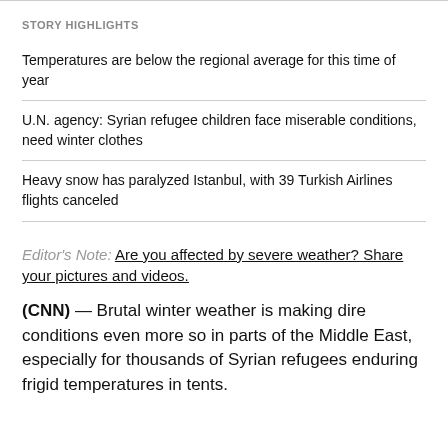STORY HIGHLIGHTS
Temperatures are below the regional average for this time of year
U.N. agency: Syrian refugee children face miserable conditions, need winter clothes
Heavy snow has paralyzed Istanbul, with 39 Turkish Airlines flights canceled
Editor's Note: Are you affected by severe weather? Share your pictures and videos.
(CNN) — Brutal winter weather is making dire conditions even more so in parts of the Middle East, especially for thousands of Syrian refugees enduring frigid temperatures in tents.